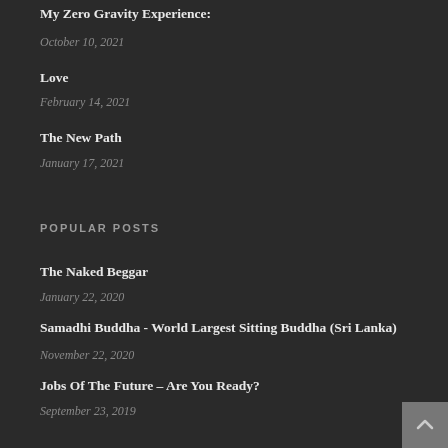My Zero Gravity Experience:
October 10, 2021
Love
February 14, 2021
The New Path
January 17, 2021
POPULAR POSTS
The Naked Beggar
January 22, 2020
Samadhi Buddha - World Largest Sitting Buddha (Sri Lanka)
November 22, 2020
Jobs Of The Future – Are You Ready?
September 23, 2019